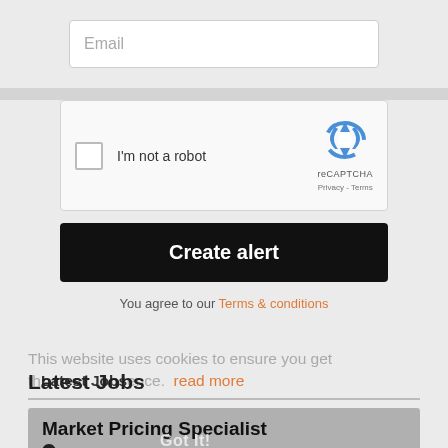Email
[Figure (screenshot): reCAPTCHA widget with checkbox 'I'm not a robot' and reCAPTCHA logo]
Create alert
You agree to our Terms & conditions
This website uses cookies to ensure you get the best experience. read more
Latest Jobs
Market Pricing Specialist
Chester
£23000 per annum, Benefits: Excellent